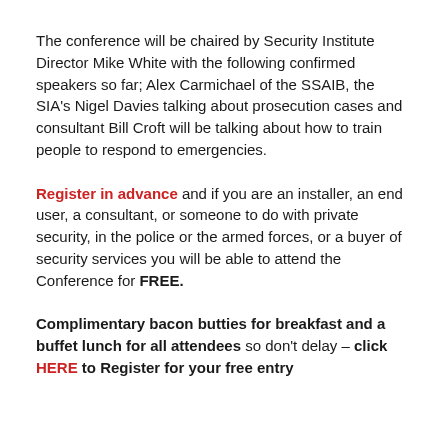The conference will be chaired by Security Institute Director Mike White with the following confirmed speakers so far; Alex Carmichael of the SSAIB, the SIA's Nigel Davies talking about prosecution cases and consultant Bill Croft will be talking about how to train people to respond to emergencies.
Register in advance and if you are an installer, an end user, a consultant, or someone to do with private security, in the police or the armed forces, or a buyer of security services you will be able to attend the Conference for FREE.
Complimentary bacon butties for breakfast and a buffet lunch for all attendees so don't delay – click HERE to Register for your free entry